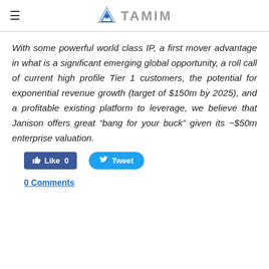TAMIM
With some powerful world class IP, a first mover advantage in what is a significant emerging global opportunity, a roll call of current high profile Tier 1 customers, the potential for exponential revenue growth (target of $150m by 2025), and a profitable existing platform to leverage, we believe that Janison offers great “bang for your buck” given its ~$50m enterprise valuation.
[Figure (other): Facebook Like button (0 likes) and Twitter Tweet button]
0 Comments